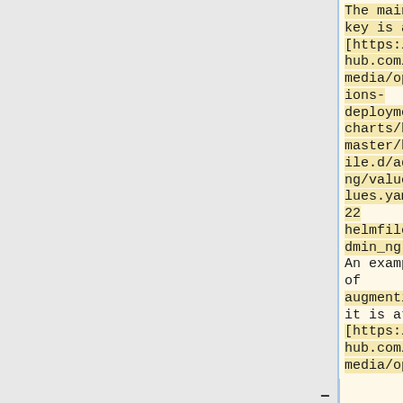The main key is at [https://github.com/wikimedia/operations-deployment-charts/blob/master/helmfile.d/admin_ng/values/values.yaml#L122 helmfile.d/admin_ng]. An example of augmenting it is at [https://github.com/wikimedia/operat